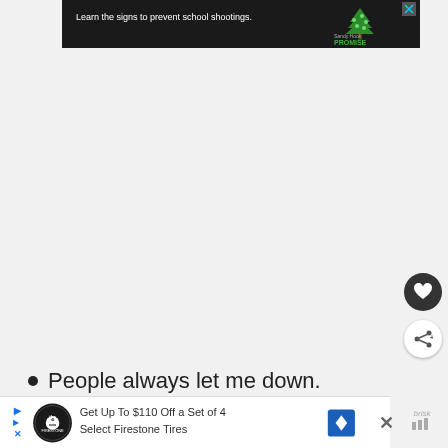[Figure (screenshot): Sandy Hook Promise advertisement banner with dark background, text 'Learn the signs to prevent school shootings.' and tree logo]
People always let me down.
[Figure (screenshot): Firestone tires advertisement: 'Get Up To $110 Off a Set of 4 Select Firestone Tires']